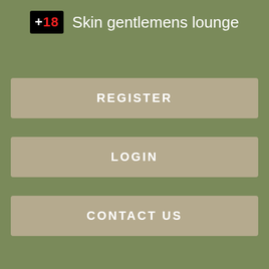+18 Skin gentlemens lounge
REGISTER
LOGIN
CONTACT US
themselves in their daily lives but, if you've ever questioned why penises are shaped the way they are, you're in for a surprise. They found that the penis ridge the mushroom part where the glans, or head, meets the shaft could scoop out more than 90 per cent of the mixture with just one thrust.
Sinun tietosi. sinun kokemuksesi.
They surveyed students and found evidence that sex is "more energetic" if the woman is suspected of cheating or the pair have...